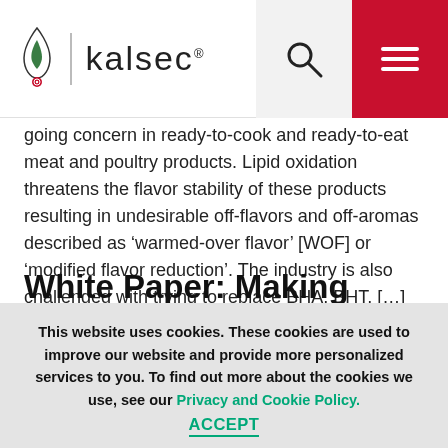kalsec
going concern in ready-to-cook and ready-to-eat meat and poultry products. Lipid oxidation threatens the flavor stability of these products resulting in undesirable off-flavors and off-aromas described as ‘warmed-over flavor’ [WOF] or ‘modified flavor reduction’. The industry is also challenged with trying to replace BHA, BHT, […]
White Paper: Making Products Look Better…Naturally
Fresh Meat Color Stability As fresh ground meat is a major share of the meat retail space, the appearance of the meat is vital to consumer
This website uses cookies. These cookies are used to improve our website and provide more personalized services to you. To find out more about the cookies we use, see our Privacy and Cookie Policy. ACCEPT